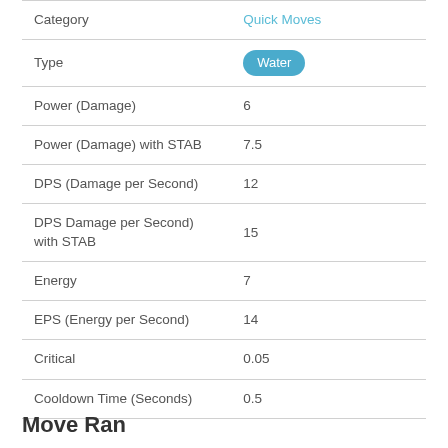| Category | Quick Moves |
| --- | --- |
| Type | Water |
| Power (Damage) | 6 |
| Power (Damage) with STAB | 7.5 |
| DPS (Damage per Second) | 12 |
| DPS Damage per Second) with STAB | 15 |
| Energy | 7 |
| EPS (Energy per Second) | 14 |
| Critical | 0.05 |
| Cooldown Time (Seconds) | 0.5 |
Move Ranking